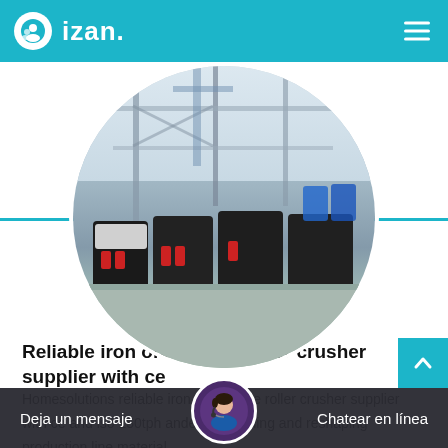izan.
[Figure (photo): Circular cropped photo of heavy industrial machinery (iron ore crushers / roller crushers) inside a large factory warehouse, multiple black machines lined up on a concrete floor with cranes and steel structure visible above.]
Reliable iron ore double roller crusher supplier with ce
Homesolutions reliable iron ore double roller crusher supplier with ce and iso 150tph andesite crushing and reshaping production line material...
Deja un mensaje   Chatear en línea